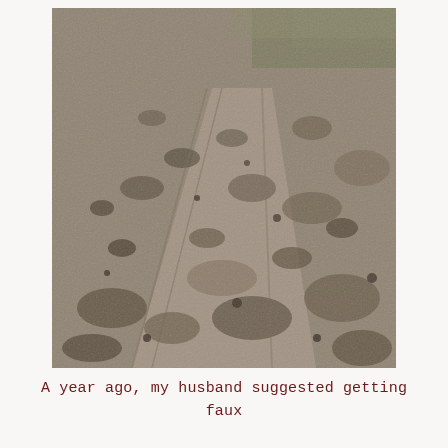[Figure (photo): Close-up photograph of churned-up muddy ground, showing rough soil texture with tire tracks or foot impressions. Background shows green grass/vegetation at the top right corner.]
A year ago, my husband suggested getting faux